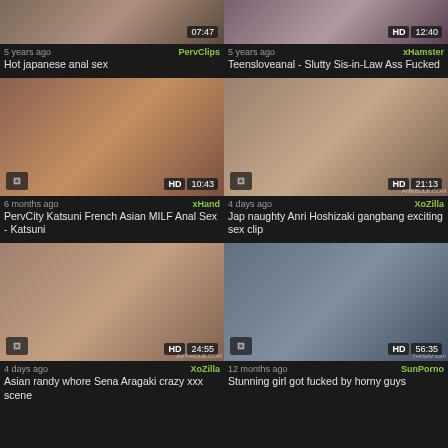[Figure (screenshot): Video thumbnail grid of adult content videos]
5 years ago | PervClips
Hot japanese anal sex
5 years ago | xHamster
Teensloveanal - Slutty Sis-in-Law Ass Fucked
6 months ago | xHand
PervCity Katsuni French Asian MILF Anal Sex - Katsuni
4 days ago | XoZilla
Jap naughty Anri Hoshizaki gangbang exciting sex clip
4 days ago | XoZilla
Asian randy whore Sena Aragaki crazy xxx scene
12 months ago | SunPorno
Stunning girl got fucked by horny guys